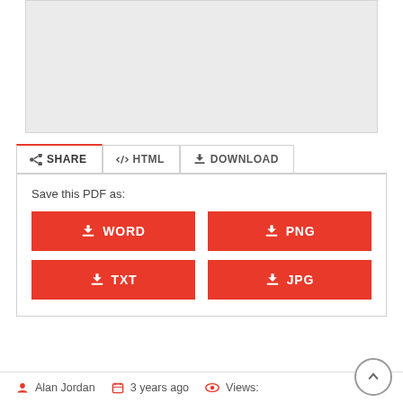[Figure (screenshot): Gray preview area representing a document thumbnail placeholder]
SHARE  |  HTML  |  DOWNLOAD (tab navigation)
Save this PDF as:
WORD
PNG
TXT
JPG
Alan Jordan  3 years ago  Views: